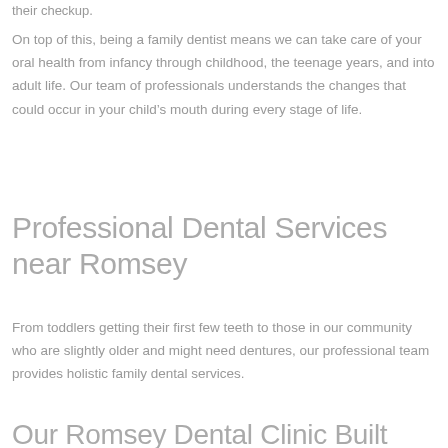their checkup.
On top of this, being a family dentist means we can take care of your oral health from infancy through childhood, the teenage years, and into adult life. Our team of professionals understands the changes that could occur in your child's mouth during every stage of life.
Professional Dental Services near Romsey
From toddlers getting their first few teeth to those in our community who are slightly older and might need dentures, our professional team provides holistic family dental services.
Our Romsey Dental Clinic Built around the